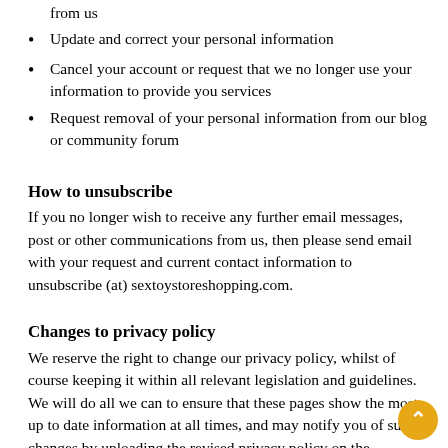from us
Update and correct your personal information
Cancel your account or request that we no longer use your information to provide you services
Request removal of your personal information from our blog or community forum
How to unsubscribe
If you no longer wish to receive any further email messages, post or other communications from us, then please send email with your request and current contact information to unsubscribe (at) sextoystoreshopping.com.
Changes to privacy policy
We reserve the right to change our privacy policy, whilst of course keeping it within all relevant legislation and guidelines. We will do all we can to ensure that these pages show the most up to date information at all times, and may notify you of such changes by uploading the revised privacy policy on the sextoystoreshopping.com website.
Cookie Policy